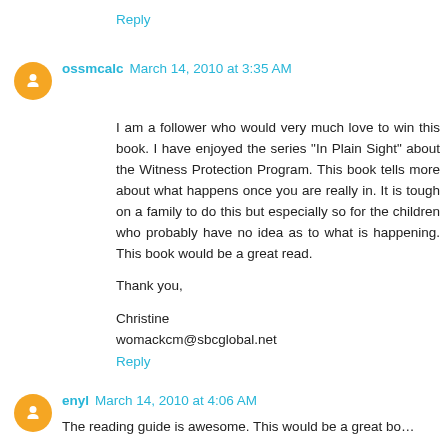Reply
ossmcalc March 14, 2010 at 3:35 AM
I am a follower who would very much love to win this book. I have enjoyed the series "In Plain Sight" about the Witness Protection Program. This book tells more about what happens once you are really in. It is tough on a family to do this but especially so for the children who probably have no idea as to what is happening. This book would be a great read.

Thank you,

Christine
womackcm@sbcglobal.net
Reply
enyl March 14, 2010 at 4:06 AM
The reading guide is awesome. This would be a great bo...